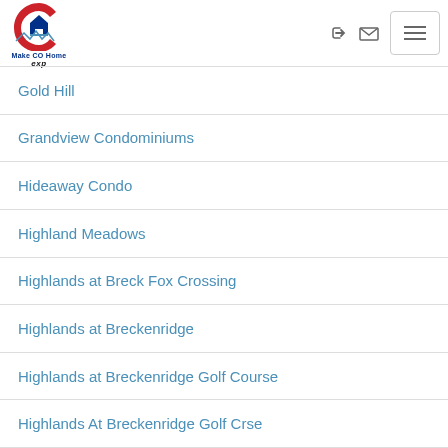Make CO Home / exp — navigation header with logo
Gold Hill
Grandview Condominiums
Hideaway Condo
Highland Meadows
Highlands at Breck Fox Crossing
Highlands at Breckenridge
Highlands at Breckenridge Golf Course
Highlands At Breckenridge Golf Crse